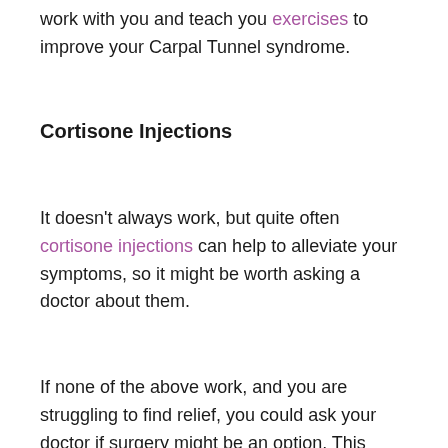work with you and teach you exercises to improve your Carpal Tunnel syndrome.
Cortisone Injections
It doesn't always work, but quite often cortisone injections can help to alleviate your symptoms, so it might be worth asking a doctor about them.
If none of the above work, and you are struggling to find relief, you could ask your doctor if surgery might be an option. This should only be used as a last resort, and it isn't suitable for everyone, but it can be used to